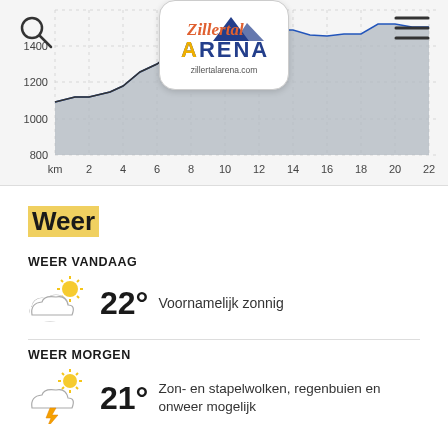[Figure (area-chart): Elevation area chart showing route profile from km 0 to 22, elevation ranging from ~800m to ~1500m]
[Figure (logo): Zillertal Arena logo with mountain graphic and text 'zillertalarena.com']
[Figure (other): Search magnifying glass icon top-left]
[Figure (other): Hamburger menu icon top-right]
Weer
WEER VANDAAG
[Figure (illustration): Partly cloudy with sun weather icon]
22° Voornamelijk zonnig
WEER MORGEN
[Figure (illustration): Partly cloudy with sun and lightning weather icon]
21° Zon- en stapelwolken, regenbuien en onweer mogelijk